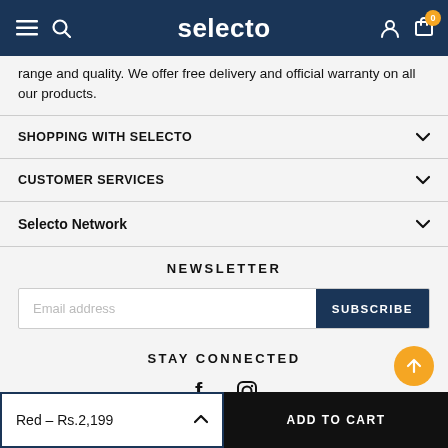selecto
range and quality. We offer free delivery and official warranty on all our products.
SHOPPING WITH SELECTO
CUSTOMER SERVICES
Selecto Network
NEWSLETTER
Email address
STAY CONNECTED
Red – Rs.2,199   ADD TO CART